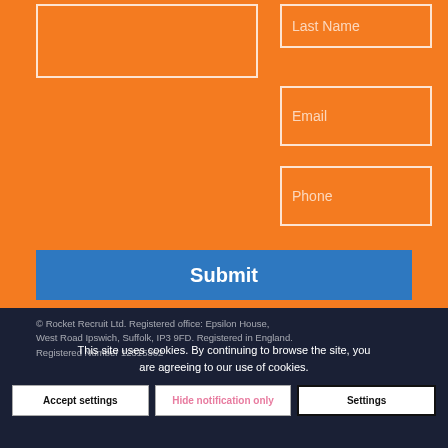[Figure (screenshot): Web form with orange background containing Last Name, Email, Phone input fields and a Submit button]
© Rocket Recruit Ltd. Registered office: Epsilon House, West Road Ipswich, Suffolk, IP3 9FD. Registered in England. Registered Number 12315362
This site uses cookies. By continuing to browse the site, you are agreeing to our use of cookies.
Accept settings
Hide notification only
Settings